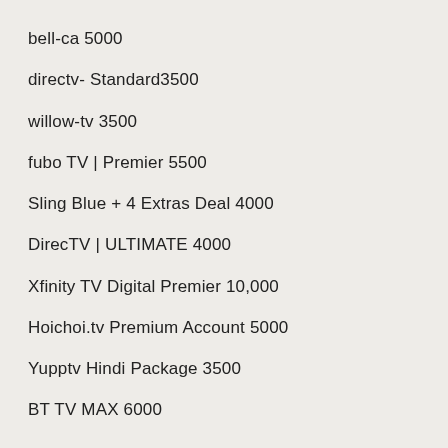bell-ca 5000
directv- Standard3500
willow-tv 3500
fubo TV | Premier 5500
Sling Blue + 4 Extras Deal 4000
DirecTV | ULTIMATE 4000
Xfinity TV Digital Premier 10,000
Hoichoi.tv Premium Account 5000
Yupptv Hindi Package 3500
BT TV MAX 6000